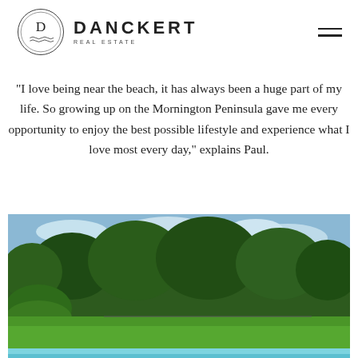[Figure (logo): Danckert Real Estate logo with circular emblem containing the letter D and wave lines, and the text DANCKERT REAL ESTATE]
"I love being near the beach, it has always been a huge part of my life. So growing up on the Mornington Peninsula gave me every opportunity to enjoy the best possible lifestyle and experience what I love most every day," explains Paul.
[Figure (photo): Outdoor photo showing a lush green lawn, manicured hedges, tall trees against a blue sky with clouds, and the edge of a swimming pool in the foreground]